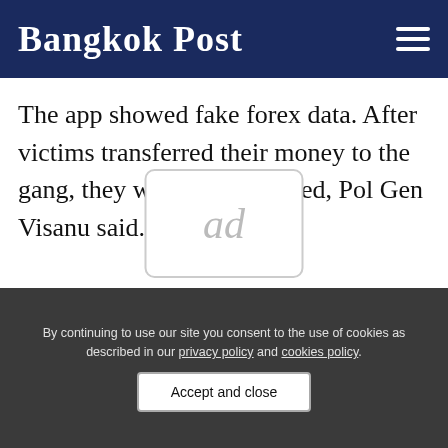Bangkok Post
The app showed fake forex data. After victims transferred their money to the gang, they were disconnected, Pol Gen Visanu said.
[Figure (other): Advertisement placeholder box with 'ad' text]
By continuing to use our site you consent to the use of cookies as described in our privacy policy and cookies policy.
Accept and close